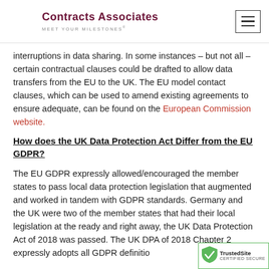Contracts Associates — MEET YOUR MILESTONES
interruptions in data sharing. In some instances – but not all – certain contractual clauses could be drafted to allow data transfers from the EU to the UK. The EU model contact clauses, which can be used to amend existing agreements to ensure adequate, can be found on the European Commission website.
How does the UK Data Protection Act Differ from the EU GDPR?
The EU GDPR expressly allowed/encouraged the member states to pass local data protection legislation that augmented and worked in tandem with GDPR standards. Germany and the UK were two of the member states that had their local legislation at the ready and right away, the UK Data Protection Act of 2018 was passed. The UK DPA of 2018 Chapter 2 expressly adopts all GDPR definitio